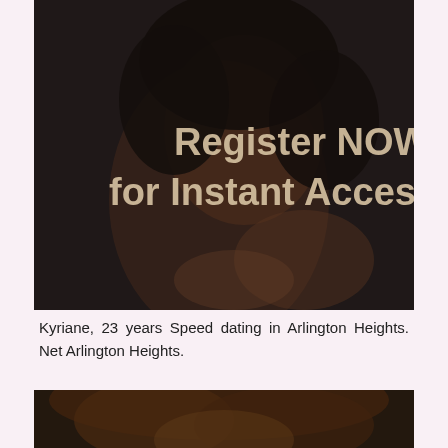[Figure (photo): A woman with curly hair posing with text overlay 'Register NOW for Instant Access' on a dark background]
Kyriane, 23 years Speed dating in Arlington Heights. Net Arlington Heights.
[Figure (photo): A woman with curly auburn hair, partial view, dark background]